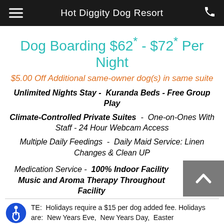Hot Diggity Dog Resort
Dog Boarding $62* - $72* Per Night
$5.00 Off Additional same-owner dog(s) in same suite
Unlimited Nights Stay - Kuranda Beds - Free Group Play
Climate-Controlled Private Suites - One-on-Ones With Staff - 24 Hour Webcam Access
Multiple Daily Feedings - Daily Maid Service: Linen Changes & Clean UP
Medication Service - 100% Indoor Facility Music and Aroma Therapy Throughout Facility
NOTE: Holidays require a $15 per dog added fee. Holidays are: New Years Eve, New Years Day, Easter